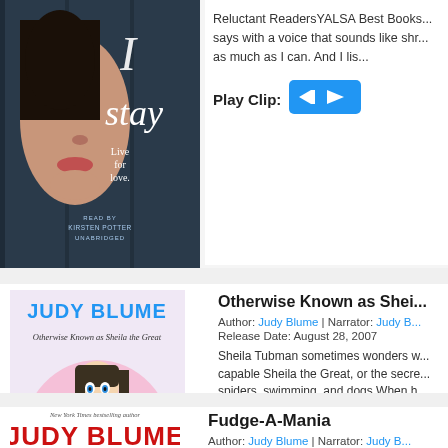[Figure (photo): Book cover for 'If I Stay' showing a close-up of a girl's face with text 'stay', 'Live for love', 'READ BY KIRSTEN POTTER UNABRIDGED']
Reluctant ReadersYALSA Best Books... says with a voice that sounds like shr... as much as I can. And I lis...
Play Clip:
[Figure (other): Blue play clip button with rewind and play icons]
[Figure (photo): Book cover for 'Otherwise Known as Sheila the Great' by Judy Blume, illustrated cover with cartoon girl]
Otherwise Known as Shei...
Author: Judy Blume | Narrator: Judy B... Release Date: August 28, 2007
Sheila Tubman sometimes wonders w... capable Sheila the Great, or the secre... spiders, swimming, and dogs.When h... Tarrytown, Sheila has to face some ...
[Figure (photo): Book cover for 'Fudge-A-Mania' by Judy Blume, showing red 'JUDY BLUME' text]
Fudge-A-Mania
Author: Judy Blume | Narrator: Judy B...